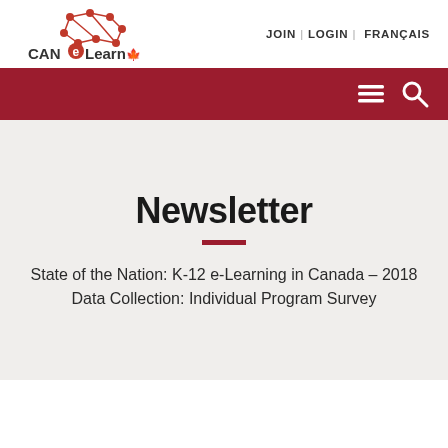[Figure (logo): CANeLearn logo with network nodes graphic and maple leaf]
JOIN | LOGIN | FRANÇAIS
[Figure (other): Red navigation bar with hamburger menu icon and search icon]
Newsletter
State of the Nation: K-12 e-Learning in Canada – 2018 Data Collection: Individual Program Survey